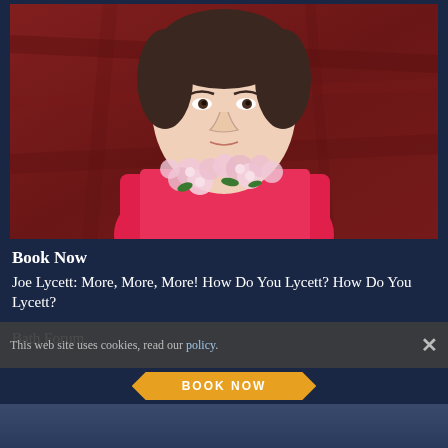[Figure (photo): Man in a red/pink blazer wearing a floral lei (pink flowers) against a dark red/maroon crinkled fabric background, looking straight at the camera]
Book Now
Joe Lycett: More, More, More! How Do You Lycett? How Do You Lycett?
Bath Forum
This web site uses cookies, read our policy.
BOOK NOW